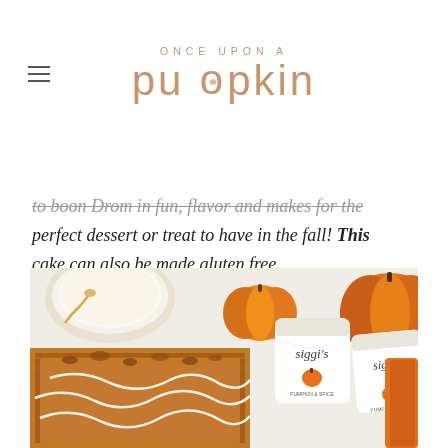ONCE UPON A pumpkin
to boon Drom in fun, flavor and makes for the perfect dessert or treat to have in the fall! This cake can also be made gluten free.
[Figure (photo): Overhead photo of pumpkin crumb cake on a cooling rack with white drizzle glaze, two siggi's pumpkin & spice yogurt cups, small orange pumpkins, a bowl of cream cheese frosting with a gold spoon, and a slice of pumpkin on a white marble surface.]